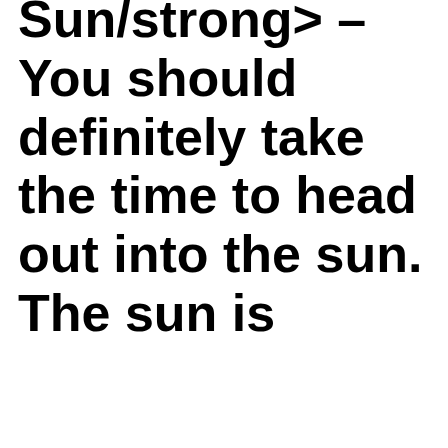Sun/strong> – You should definitely take the time to head out into the sun. The sun is